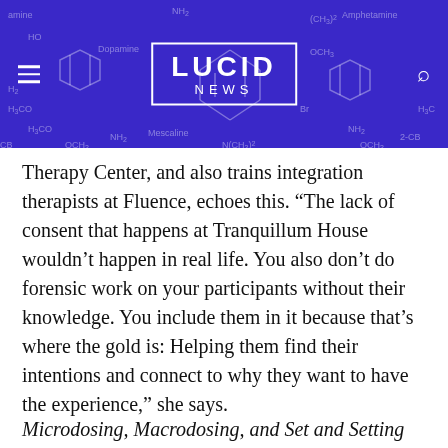LUCID NEWS
Therapy Center, and also trains integration therapists at Fluence, echoes this. “The lack of consent that happens at Tranquillum House wouldn’t happen in real life. You also don’t do forensic work on your participants without their knowledge. You include them in it because that’s where the gold is: Helping them find their intentions and connect to why they want to have the experience,” she says.
Microdosing, Macrodosing, and Set and Setting